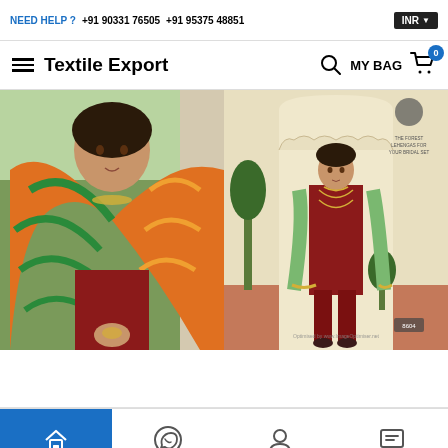NEED HELP ? +91 90331 76505   +91 95375 48851   INR
Textile Export   MY BAG 0
[Figure (photo): Two photos of women wearing Indian ethnic wear (salwar kameez with dupatta). Left: close-up of woman with colorful printed dupatta. Right: full-length view of woman in maroon salwar suit with green dupatta in an arched doorway setting.]
Home  WhatsApp  Account  Chat